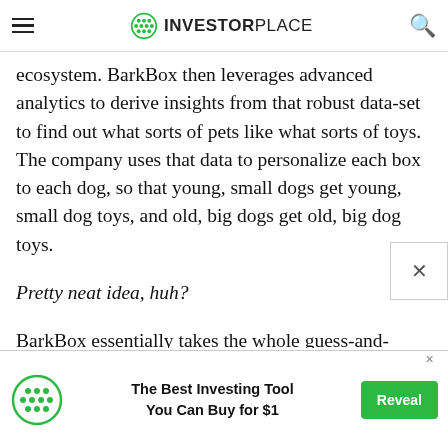INVESTORPLACE
ecosystem. BarkBox then leverages advanced analytics to derive insights from that robust data-set to find out what sorts of pets like what sorts of toys. The company uses that data to personalize each box to each dog, so that young, small dogs get young, small dog toys, and old, big dogs get old, big dog toys.
Pretty neat idea, huh?
BarkBox essentially takes the whole guess-and-check, timely process of shopping for a dog – and packages into a hyper-convenient, data-driven subscription
[Figure (other): Advertisement banner: InvestorPlace green dot logo on left, text 'The Best Investing Tool You Can Buy for $1' in center, green 'Reveal' button on right]